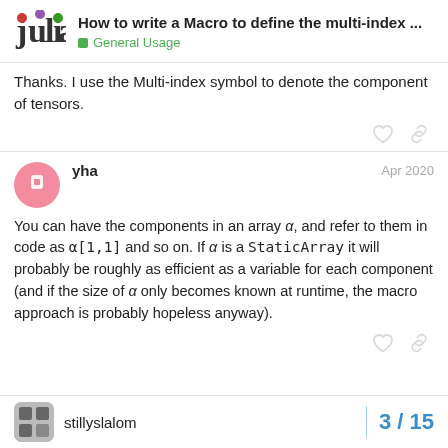How to write a Macro to define the multi-index ... | General Usage
Thanks. I use the Multi-index symbol to denote the component of tensors.
yha — Apr 2020
You can have the components in an array α, and refer to them in code as α[1,1] and so on. If α is a StaticArray it will probably be roughly as efficient as a variable for each component (and if the size of α only becomes known at runtime, the macro approach is probably hopeless anyway).
stillyslalom
3 / 15